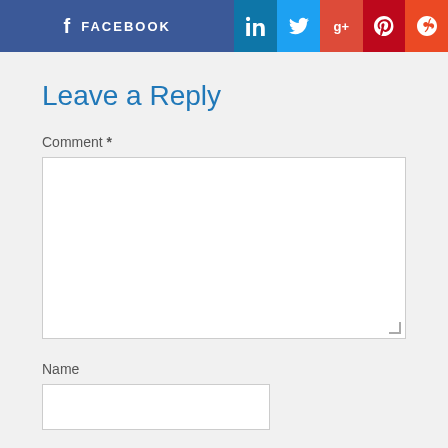[Figure (other): Social media sharing buttons bar: Facebook (dark blue, wide), LinkedIn (teal), Twitter (light blue), Google+ (red-orange), Pinterest (dark red), StumbleUpon (orange-red)]
Leave a Reply
Comment *
Name